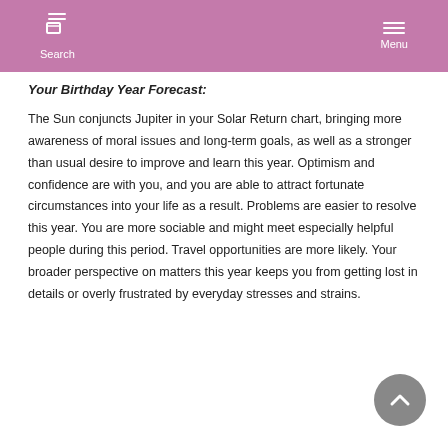Search  Menu
Your Birthday Year Forecast:
The Sun conjuncts Jupiter in your Solar Return chart, bringing more awareness of moral issues and long-term goals, as well as a stronger than usual desire to improve and learn this year. Optimism and confidence are with you, and you are able to attract fortunate circumstances into your life as a result. Problems are easier to resolve this year. You are more sociable and might meet especially helpful people during this period. Travel opportunities are more likely. Your broader perspective on matters this year keeps you from getting lost in details or overly frustrated by everyday stresses and strains.